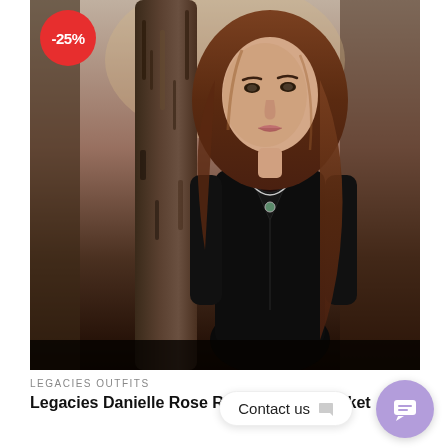[Figure (photo): A woman with long brown wavy hair wearing a black leather bomber jacket and black top with a necklace, standing outdoors near a tree trunk in a forest setting. A red discount badge showing -25% is overlaid in the top-left corner of the image.]
LEGACIES OUTFITS
Legacies Danielle Rose Russell Black Jacket